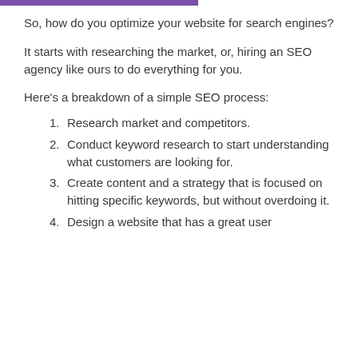So, how do you optimize your website for search engines?
It starts with researching the market, or, hiring an SEO agency like ours to do everything for you.
Here’s a breakdown of a simple SEO process:
1. Research market and competitors.
2. Conduct keyword research to start understanding what customers are looking for.
3. Create content and a strategy that is focused on hitting specific keywords, but without overdoing it.
4. Design a website that has a great user